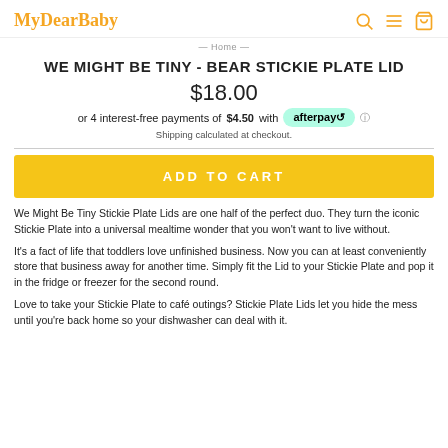MyDearBaby
Home
WE MIGHT BE TINY - BEAR STICKIE PLATE LID
$18.00
or 4 interest-free payments of $4.50 with afterpay
Shipping calculated at checkout.
ADD TO CART
We Might Be Tiny Stickie Plate Lids are one half of the perfect duo. They turn the iconic Stickie Plate into a universal mealtime wonder that you won't want to live without.
It's a fact of life that toddlers love unfinished business. Now you can at least conveniently store that business away for another time. Simply fit the Lid to your Stickie Plate and pop it in the fridge or freezer for the second round.
Love to take your Stickie Plate to café outings? Stickie Plate Lids let you hide the mess until you're back home so your dishwasher can deal with it.